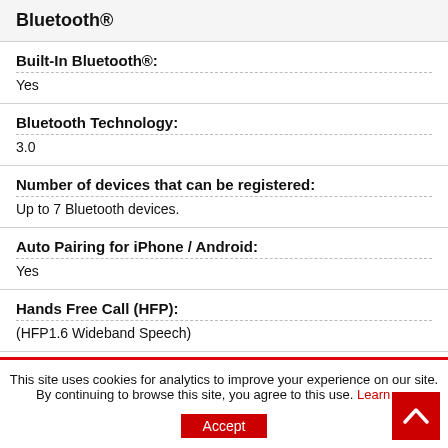Bluetooth®
| Built-In Bluetooth®: | Yes |
| Bluetooth Technology: | 3.0 |
| Number of devices that can be registered: | Up to 7 Bluetooth devices. |
| Auto Pairing for iPhone / Android: | Yes |
| Hands Free Call (HFP): | (HFP1.6 Wideband Speech) |
| Advanced Audio Distribution Profile (A2DP): |  |
| Phone Book Access Profile (PBAP): |  |
This site uses cookies for analytics to improve your experience on our site. By continuing to browse this site, you agree to this use. Learn more
Accept